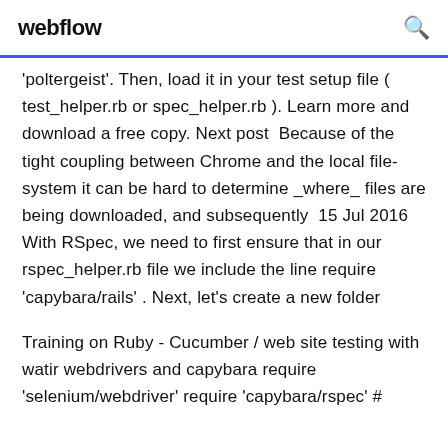webflow
'poltergeist'. Then, load it in your test setup file ( test_helper.rb or spec_helper.rb ). Learn more and download a free copy. Next post  Because of the tight coupling between Chrome and the local file-system it can be hard to determine _where_ files are being downloaded, and subsequently  15 Jul 2016 With RSpec, we need to first ensure that in our rspec_helper.rb file we include the line require 'capybara/rails' . Next, let's create a new folder
Training on Ruby - Cucumber / web site testing with watir webdrivers and capybara require 'selenium/webdriver' require 'capybara/rspec' #